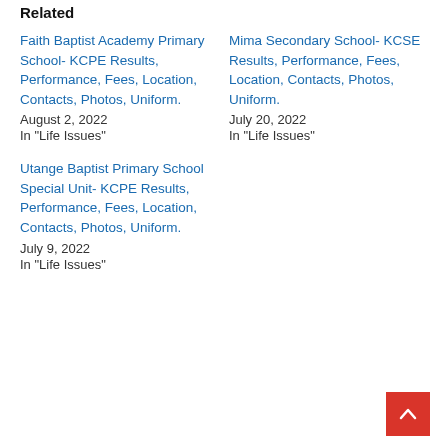Related
Faith Baptist Academy Primary School- KCPE Results, Performance, Fees, Location, Contacts, Photos, Uniform.
August 2, 2022
In "Life Issues"
Mima Secondary School- KCSE Results, Performance, Fees, Location, Contacts, Photos, Uniform.
July 20, 2022
In "Life Issues"
Utange Baptist Primary School Special Unit- KCPE Results, Performance, Fees, Location, Contacts, Photos, Uniform.
July 9, 2022
In "Life Issues"